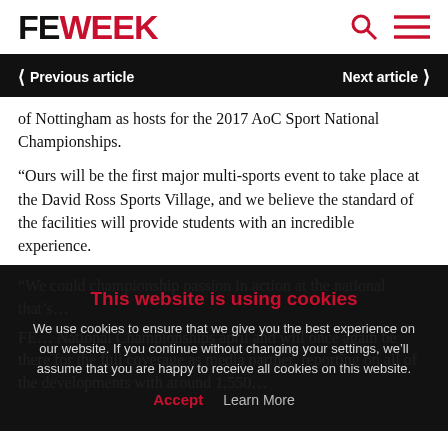FE WEEK
< Previous article    Next article >
of Nottingham as hosts for the 2017 AoC Sport National Championships.
“Ours will be the first major multi-sports event to take place at the David Ross Sports Village, and we believe the standard of the facilities will provide students with an incredible experience.
“We could championship passion in action at the national that’s…
FE… National Championships april and will once again be there for the full coverage as media partner, reporting on all of the developments with around 1,550…
This website is using cookies
We use cookies to ensure that we give you the best experience on our website. If you continue without changing your settings, we’ll assume that you are happy to receive all cookies on this website.
Accept   Learn More